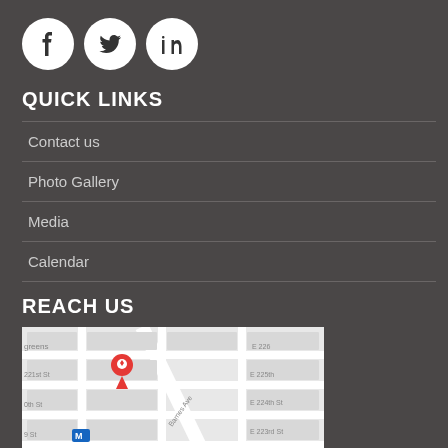[Figure (other): Social media icons: Facebook, Twitter, LinkedIn — white circles on dark background]
QUICK LINKS
Contact us
Photo Gallery
Media
Calendar
REACH US
[Figure (map): Google Maps showing area around E 217th-226th Streets, Barnes Ave, with a red location pin and Lavelle School for the Blind marker visible]